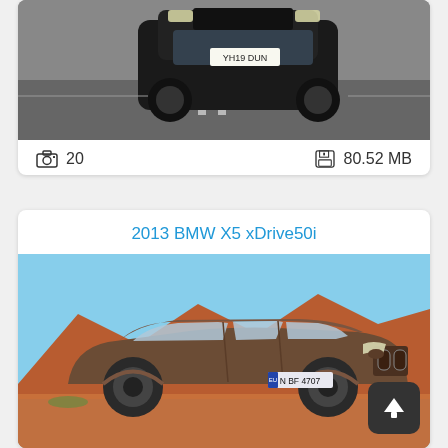[Figure (photo): Black BMW SUV/sports car photographed from front-top angle on a road, UK plate YH19 DUN visible]
📷 20   🖫 80.52 MB
2013 BMW X5 xDrive50i
[Figure (photo): 2013 BMW X5 xDrive50i bronze/brown SUV photographed in desert landscape with red rock buttes, plate N BF 4707]